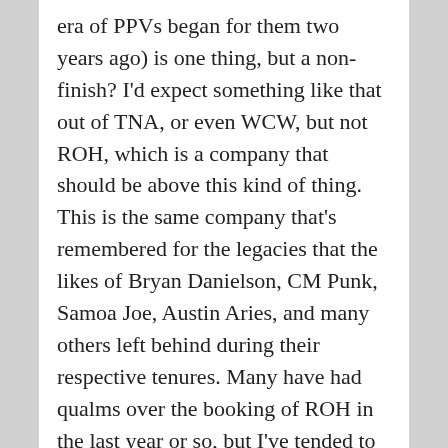era of PPVs began for them two years ago) is one thing, but a non-finish? I'd expect something like that out of TNA, or even WCW, but not ROH, which is a company that should be above this kind of thing. This is the same company that's remembered for the legacies that the likes of Bryan Danielson, CM Punk, Samoa Joe, Austin Aries, and many others left behind during their respective tenures. Many have had qualms over the booking of ROH in the last year or so, but I've tended to be, again, more optimistic. After tonight, I'm of the firm belief that changes need to be made when it comes to the booking.